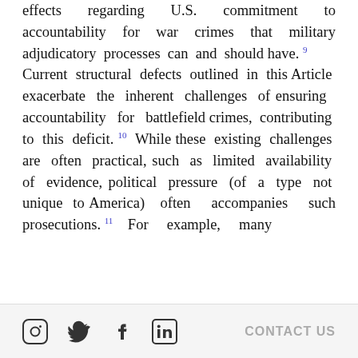…identify itself in important signaling effects regarding U.S. commitment to accountability for war crimes that military adjudicatory processes can and should have.⁹

Current structural defects outlined in this Article exacerbate the inherent challenges of ensuring accountability for battlefield crimes, contributing to this deficit.¹⁰ While these existing challenges are often practical, such as limited availability of evidence, political pressure (of a type not unique to America) often accompanies such prosecutions.¹¹ For example, many [cut off]
Social icons: Instagram, Twitter, Facebook, LinkedIn | CONTACT US